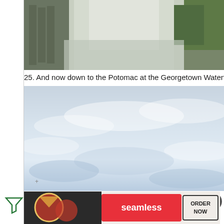[Figure (photo): Top portion of a photo showing a wet reflective road or path with trees and buildings in the background, partially cropped at the top of the page.]
25. And now down to the Potomac at the Georgetown Waterfront (with R
[Figure (photo): Large photo showing a pale blue-grey overcast sky with light clouds, taking up most of the lower portion of the page content area. A small '+' symbol is visible near the lower left of the image.]
[Figure (photo): Advertisement banner at the bottom showing a Seamless pizza delivery ad with pizza slices on the left, Seamless logo in the center, and 'ORDER NOW' button on the right.]